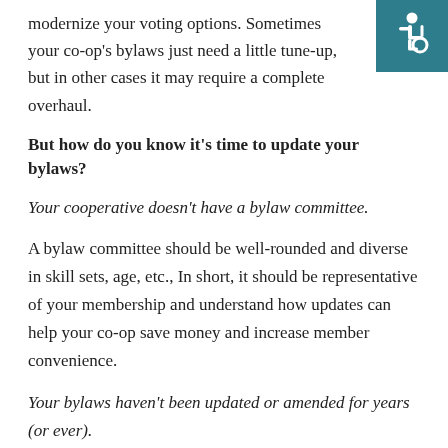modernize your voting options. Sometimes your co-op's bylaws just need a little tune-up, but in other cases it may require a complete overhaul.
[Figure (illustration): Accessibility icon: white wheelchair symbol on teal/dark cyan background square]
But how do you know it's time to update your bylaws?
Your cooperative doesn't have a bylaw committee.
A bylaw committee should be well-rounded and diverse in skill sets, age, etc., In short, it should be representative of your membership and understand how updates can help your co-op save money and increase member convenience.
Your bylaws haven't been updated or amended for years (or ever).
Amendments and updates to bylaws and election